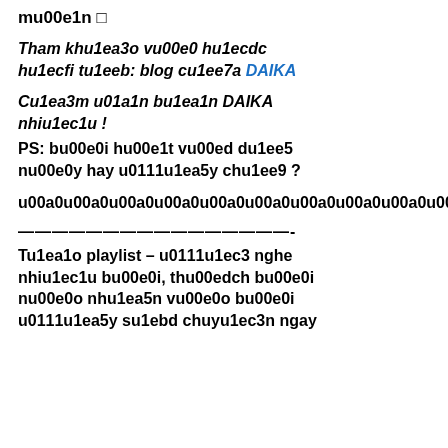mu00e1n □
Tham khu1ea3o vu00e0 hu1ecdc hu1ecfi tu1eeb: blog cu1ee7a DAIKA
Cu1ea3m u01a1n bu1ea1n DAIKA nhiu1ec1u !
PS: bu00e0i hu00e1t vu00ed du1ee5 nu00e0y hay u0111u1ea5y chu1ee9 ?
u00a0u00a0u00a0u00a0u00a0u00a0u00a0u00a0u00a0u00a0u00a0u00a0u00a0u00a0
————————————————-
Tu1ea1o playlist – u0111u1ec3 nghe nhiu1ec1u bu00e0i, thu00edch bu00e0i nu00e0o nhu1ea5n vu00e0o bu00e0i u0111u1ea5y su1ebd chuyu1ec3n ngay